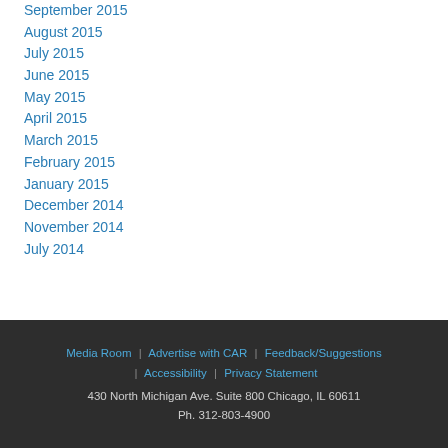September 2015
August 2015
July 2015
June 2015
May 2015
April 2015
March 2015
February 2015
January 2015
December 2014
November 2014
July 2014
Media Room | Advertise with CAR | Feedback/Suggestions | Accessibility | Privacy Statement
430 North Michigan Ave. Suite 800 Chicago, IL 60611
Ph. 312-803-4900